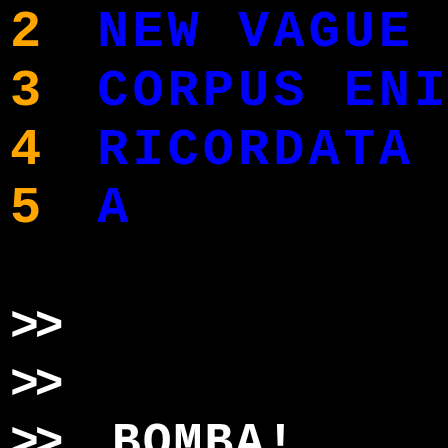2  NEW VAGUE CITY
3  CORPUS ENIGMA
4  RICORDATA
5  A
>>
>>
>> BOMBA!